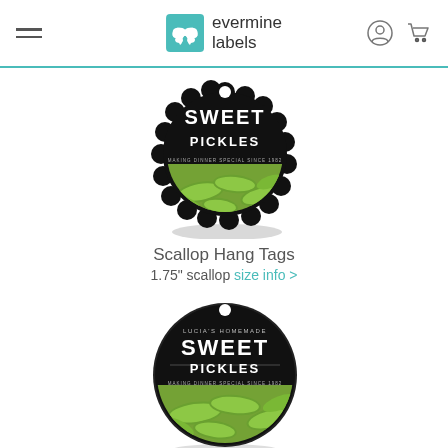evermine labels
[Figure (photo): Scallop-shaped hang tag with black background showing 'SWEET PICKLES – Making Dinner Special Since 1982' with pickle image]
Scallop Hang Tags
1.75" scallop size info >
[Figure (photo): Circle hang tag with black background showing 'Lucia's Homemade SWEET PICKLES – Making Dinner Special Since 1982' with pickle image]
Circle Hang Tags